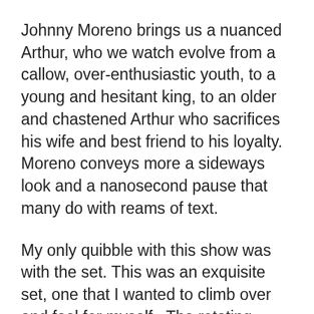Johnny Moreno brings us a nuanced Arthur, who we watch evolve from a callow, over-enthusiastic youth, to a young and hesitant king, to an older and chastened Arthur who sacrifices his wife and best friend to his loyalty. Moreno conveys more a sideways look and a nanosecond pause that many do with reams of text.
My only quibble with this show was with the set. This was an exquisite set, one that I wanted to climb over and feel for myself.  The rotating castle elements worked beautifully together and were perfectly integrated with the video projections. However, I couldn't get past the nagging question why the castle was demolished from the very beginning… and why it remained